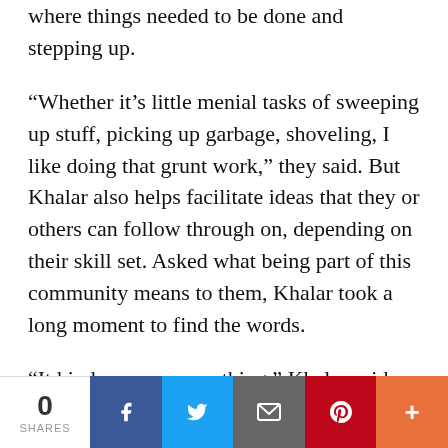where things needed to be done and stepping up.
“Whether it’s little menial tasks of sweeping up stuff, picking up garbage, shoveling, I like doing that grunt work,” they said. But Khalar also helps facilitate ideas that they or others can follow through on, depending on their skill set. Asked what being part of this community means to them, Khalar took a long moment to find the words.
“It kinda means everything,” Khaler said, explaining that they’ve been part of protests and campaigns and supported different organizations their entire life. “The work that
0 SHARES | Facebook | Twitter | Email | Pinterest | More